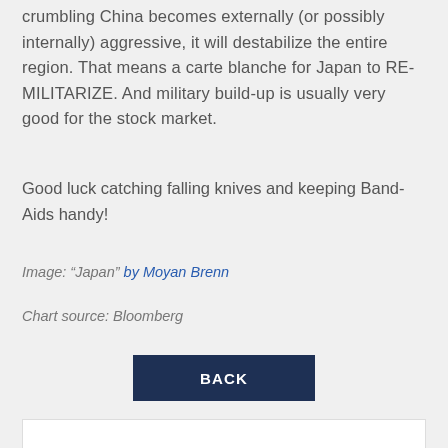crumbling China becomes externally (or possibly internally) aggressive, it will destabilize the entire region. That means a carte blanche for Japan to RE-MILITARIZE. And military build-up is usually very good for the stock market.
Good luck catching falling knives and keeping Band-Aids handy!
Image: “Japan” by Moyan Brenn
Chart source: Bloomberg
BACK